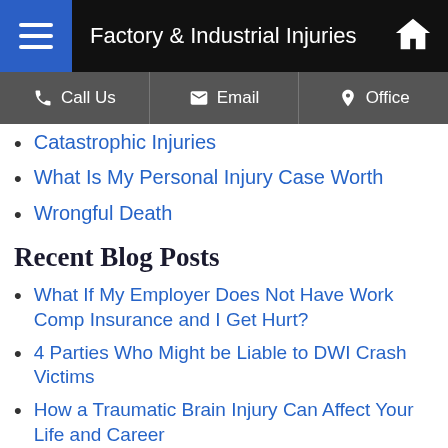Factory & Industrial Injuries
Catastrophic Injuries
What Is My Personal Injury Case Worth
Wrongful Death
Recent Blog Posts
What If My Employer Does Not Have Work Comp Insurance and I Get Hurt?
4 Parties Who Might be Liable to DWI Crash Victims
How a Traumatic Brain Injury Can Affect Your Life and Career
Top 3 Causes of Rear-End Collisions in Dallas
How to Handle a Driver With Road Rage